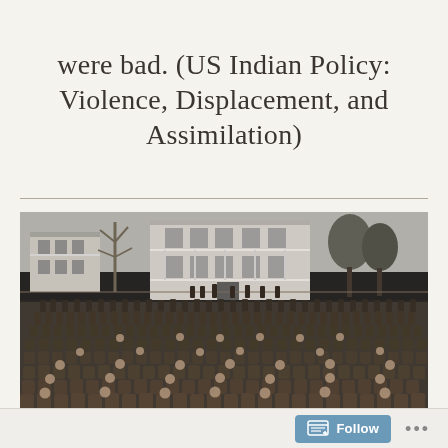were bad. (US Indian Policy: Violence, Displacement, and Assimilation)
[Figure (photo): Historical black-and-white photograph of a large group of Native American children and young people seated and standing in rows outdoors in front of a two-story colonial-style building, likely a boarding school. Hundreds of children are visible, dressed in uniform clothing.]
Pupils at Carlisle Indian Industrial School, Pennsylvania
Follow